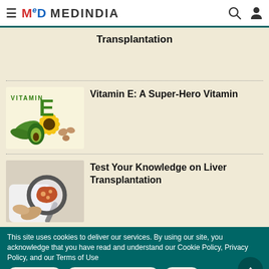≡ MD MEDINDIA
Transplantation
Vitamin E: A Super-Hero Vitamin
[Figure (photo): Vitamin E foods and supplements illustration with sunflower, avocado, nuts and green Vitamin E text]
Test Your Knowledge on Liver Transplantation
[Figure (photo): Doctor holding magnifying glass over liver illustration]
This site uses cookies to deliver our services. By using our site, you acknowledge that you have read and understand our Cookie Policy, Privacy Policy, and our Terms of Use